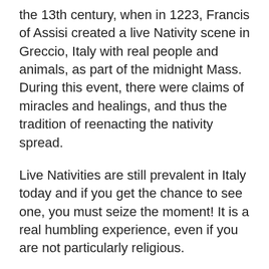the 13th century, when in 1223, Francis of Assisi created a live Nativity scene in Greccio, Italy with real people and animals, as part of the midnight Mass. During this event, there were claims of miracles and healings, and thus the tradition of reenacting the nativity spread.
Live Nativities are still prevalent in Italy today and if you get the chance to see one, you must seize the moment! It is a real humbling experience, even if you are not particularly religious.
Here are some more pictures of the Nativity scene in San Vito Dei Normanni, Puglia, Italy. Amazingly, these pictures are all from the same 'Presepe'.... Unfortunately, I wasn't able to